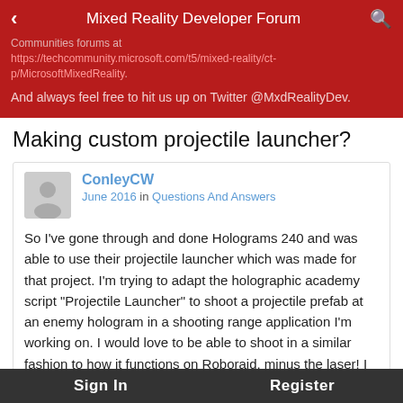Mixed Reality Developer Forum
Communities forums at https://techcommunity.microsoft.com/t5/mixed-reality/ct-p/MicrosoftMixedReality.

And always feel free to hit us up on Twitter @MxdRealityDev.
Making custom projectile launcher?
ConleyCW
June 2016 in Questions And Answers
So I've gone through and done Holograms 240 and was able to use their projectile launcher which was made for that project. I'm trying to adapt the holographic academy script "Projectile Launcher" to shoot a projectile prefab at an enemy hologram in a shooting range application I'm working on. I would love to be able to shoot in a similar fashion to how it functions on Roboraid, minus the laser! I currently have OnSelect sent from the Gesture Manager trigger Destroy(gameobject) in my project and is working as a place holder for what I really want. How do I use... (the text continues)
Sign In    Register